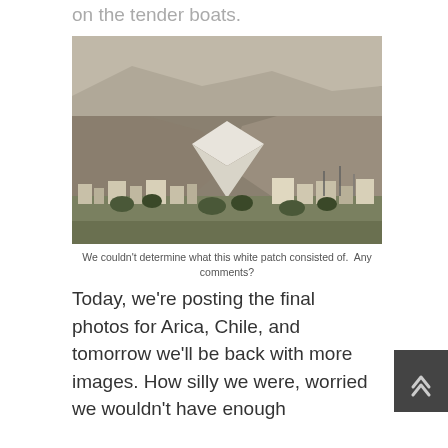on the tender boats.
[Figure (photo): Landscape photo of Arica, Chile showing barren brown hills/mountains with a distinctive white triangular patch in the valley, and a city skyline with buildings and trees in the foreground.]
We couldn’t determine what this white patch consisted of.  Any comments?
Today, we’re posting the final photos for Arica, Chile, and tomorrow we’ll be back with more images. How silly we were, worried we wouldn’t have enough